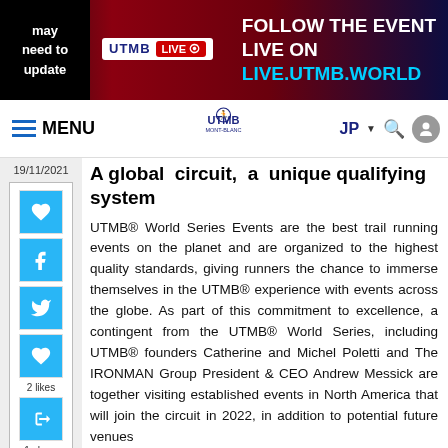FOLLOW THE EVENT LIVE ON LIVE.UTMB.WORLD
MENU | UTMB MONT-BLANC | JP | 19/11/2021
A global circuit, a unique qualifying system
UTMB® World Series Events are the best trail running events on the planet and are organized to the highest quality standards, giving runners the chance to immerse themselves in the UTMB® experience with events across the globe. As part of this commitment to excellence, a contingent from the UTMB® World Series, including UTMB® founders Catherine and Michel Poletti and The IRONMAN Group President & CEO Andrew Messick are together visiting established events in North America that will join the circuit in 2022, in addition to potential future venues